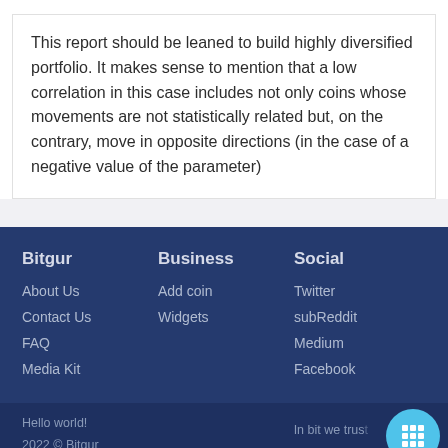This report should be leaned to build highly diversified portfolio. It makes sense to mention that a low correlation in this case includes not only coins whose movements are not statistically related but, on the contrary, move in opposite directions (in the case of a negative value of the parameter)
Bitgur | About Us | Contact Us | FAQ | Media Kit | Business | Add coin | Widgets | Social | Twitter | subReddit | Medium | Facebook
Hello world!
2022 © Bitgur
Disclaimer  Privacy Policy  Terms  |  In bit we trust